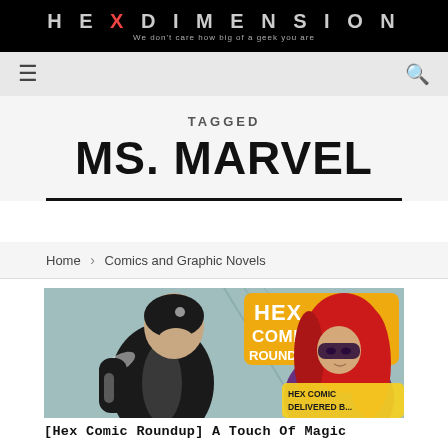HEX DIMENSION — We don't care how big of a geek you are
TAGGED
MS. MARVEL
Home › Comics and Graphic Novels
[Figure (illustration): Hex Comic Roundup banner illustration featuring a superhero in a black and white costume (Captain America-style) on the left and a red-haired female superhero in a mask on the right, with 'HEX COMIC ROUND-UP' text and 'HEX COMIC DELIVERED B...' badge in the background]
[Hex Comic Roundup] A Touch Of Magic